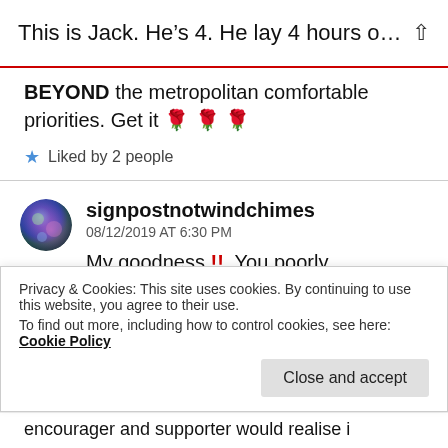This is Jack. He's 4. He lay 4 hours on L...
BEYOND the metropolitan comfortable priorities. Get it 🌹 🌹 🌹
★ Liked by 2 people
signpostnotwindchimes
08/12/2019 AT 6:30 PM
My goodness !! You poorly programmed machine !! !! You are even more
Privacy & Cookies: This site uses cookies. By continuing to use this website, you agree to their use.
To find out more, including how to control cookies, see here: Cookie Policy
encourager and supporter would realise i